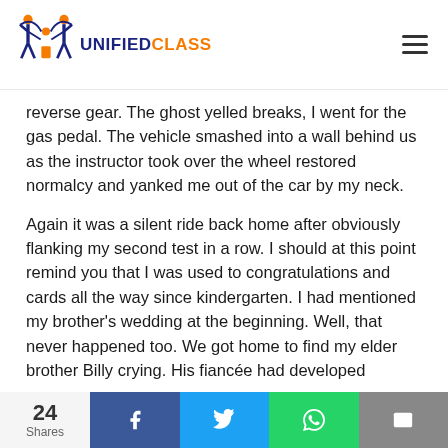UNIFIEDCLASS
reverse gear. The ghost yelled breaks, I went for the gas pedal. The vehicle smashed into a wall behind us as the instructor took over the wheel restored normalcy and yanked me out of the car by my neck.
Again it was a silent ride back home after obviously flanking my second test in a row. I should at this point remind you that I was used to congratulations and cards all the way since kindergarten. I had mentioned my brother's wedding at the beginning. Well, that never happened too. We got home to find my elder brother Billy crying. His fiancée had developed
24 Shares